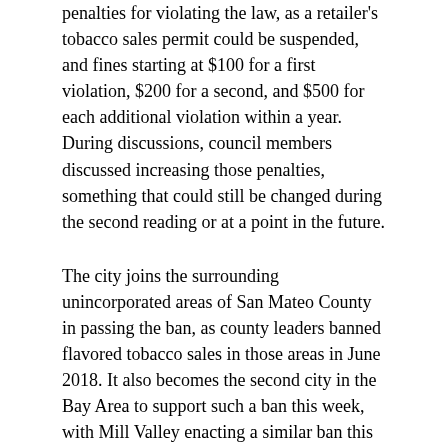penalties for violating the law, as a retailer's tobacco sales permit could be suspended, and fines starting at $100 for a first violation, $200 for a second, and $500 for each additional violation within a year. During discussions, council members discussed increasing those penalties, something that could still be changed during the second reading or at a point in the future.
The city joins the surrounding unincorporated areas of San Mateo County in passing the ban, as county leaders banned flavored tobacco sales in those areas in June 2018. It also becomes the second city in the Bay Area to support such a ban this week, with Mill Valley enacting a similar ban this week as well.
San Mateo is located approximately 20 miles south of San Francisco and is home to an estimated 105,000 residents.